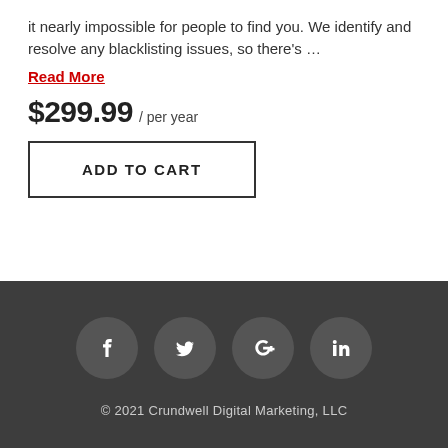it nearly impossible for people to find you. We identify and resolve any blacklisting issues, so there's …
Read More
$299.99 / per year
ADD TO CART
[Figure (other): Four social media icon circles (Facebook, Twitter, Google+, LinkedIn) on dark grey background]
© 2021 Crundwell Digital Marketing, LLC